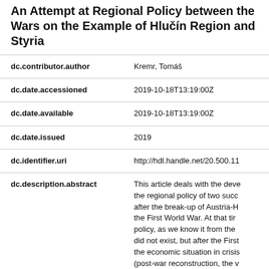An Attempt at Regional Policy between the Wars on the Example of Hlučín Region and Styria
| Field | Value |
| --- | --- |
| dc.contributor.author | Kremr, Tomáš |
| dc.date.accessioned | 2019-10-18T13:19:00Z |
| dc.date.available | 2019-10-18T13:19:00Z |
| dc.date.issued | 2019 |
| dc.identifier.uri | http://hdl.handle.net/20.500.11 |
| dc.description.abstract | This article deals with the deve the regional policy of two succ after the break-up of Austria-H the First World War. At that tir policy, as we know it from the did not exist, but after the First the economic situation in crisis (post-war reconstruction, the v economic crisis) required gove intervention. |